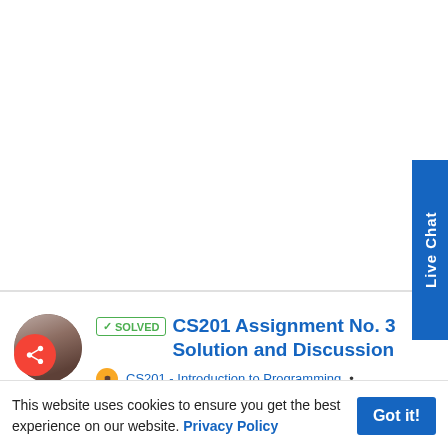[Figure (screenshot): Top white area of a web page with a 'Live Chat' vertical button on the right side in blue]
CS201 Assignment No. 3 Solution and Discussion
✓ SOLVED
CS201 - Introduction to Programming •
5
BT733 Assignment No.1 Solution and Discussion
UNSOLVED
BT733 - Bioethics, Biosecurity and Biosafety •
This website uses cookies to ensure you get the best experience on our website. Privacy Policy
Got it!